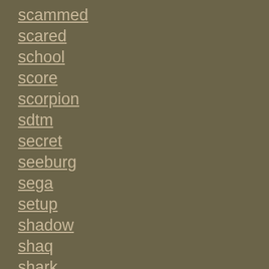scammed
scared
school
score
scorpion
sdtm
secret
seeburg
sega
setup
shadow
shaq
shark
sharkey's
sharp
sharpshooter